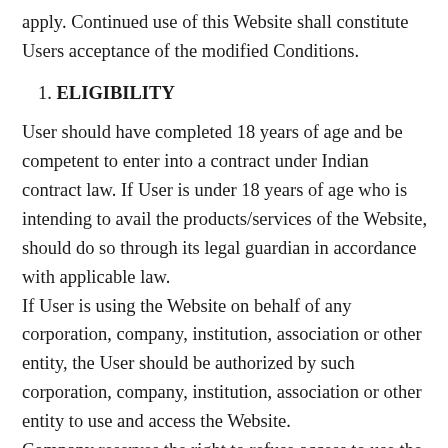apply. Continued use of this Website shall constitute Users acceptance of the modified Conditions.
1. ELIGIBILITY
User should have completed 18 years of age and be competent to enter into a contract under Indian contract law. If User is under 18 years of age who is intending to avail the products/services of the Website, should do so through its legal guardian in accordance with applicable law.
If User is using the Website on behalf of any corporation, company, institution, association or other entity, the User should be authorized by such corporation, company, institution, association or other entity to use and access the Website.
Company reserves the right to refuse access to use the services offered at the Website to new User or to